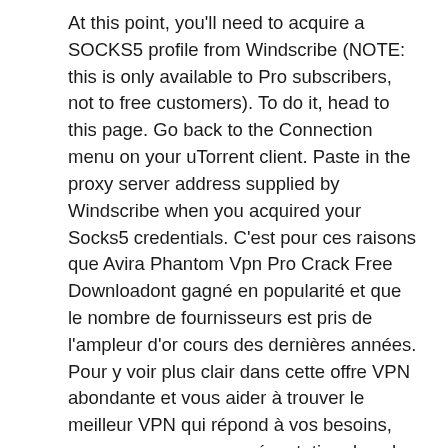At this point, you'll need to acquire a SOCKS5 profile from Windscribe (NOTE: this is only available to Pro subscribers, not to free customers). To do it, head to this page. Go back to the Connection menu on your uTorrent client. Paste in the proxy server address supplied by Windscribe when you acquired your Socks5 credentials. C'est pour ces raisons que Avira Phantom Vpn Pro Crack Free Downloadont gagné en popularité et que le nombre de fournisseurs est pris de l'ampleur d'or cours des dernières années. Pour y voir plus clair dans cette offre VPN abondante et vous aider à trouver le meilleur VPN qui répond à vos besoins, vous proposons une présentation des plus admirables bienfait de Réseaux Privés WindScribe Crack 2020 The company is releasing this tool for the Amazon Fire TV, NVidia Shield and KODI TV. Best of the best hallmark of this amazing application is that you can also install the software inside your router so all the devices that are connected can enjoy it. That's the best and the only marvelous application that is providing this amazing feature. Moreover, the